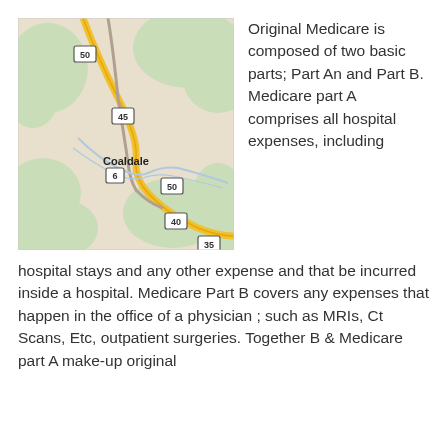[Figure (map): A road map showing the area around Coaldale, with route numbers 50, 45, 6, 40, and 35 visible. The map shows roads, terrain, and the town label 'Coaldale'.]
Original Medicare is composed of two basic parts; Part An and Part B. Medicare part A comprises all hospital expenses, including hospital stays and any other expense and that be incurred inside a hospital. Medicare Part B covers any expenses that happen in the office of a physician ; such as MRIs, Ct Scans, Etc, outpatient surgeries. Together B & Medicare part A make-up original